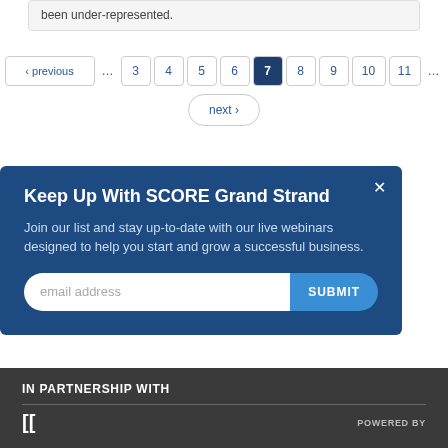been under-represented.
‹ previous … 3 4 5 6 7 8 9 10 11 … next ›
Keep Up With SCORE Grand Strand
Join our list and stay up-to-date with our live webinars designed to help you start and grow a successful business.
email address SUBMIT
IN PARTNERSHIP WITH  POWERED BY